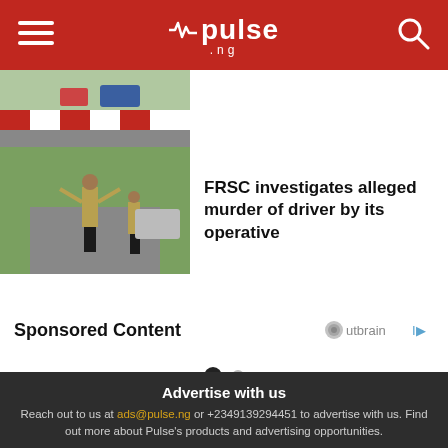pulse.ng
[Figure (photo): Road barrier with red and white stripes, vehicles visible]
[Figure (photo): FRSC officers on road directing traffic]
FRSC investigates alleged murder of driver by its operative
Sponsored Content
[Figure (logo): Outbrain logo]
Advertise with us
Reach out to us at ads@pulse.ng or +2349139294451 to advertise with us. Find out more about Pulse's products and advertising opportunities.